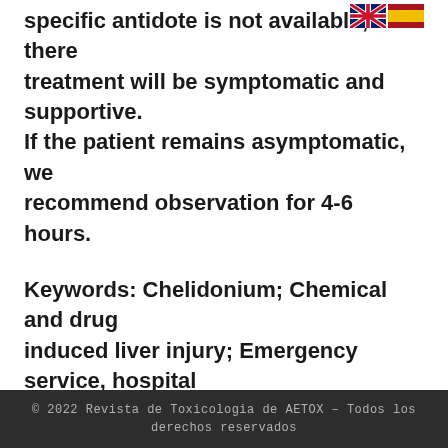specific antidote is not available; therefore treatment will be symptomatic and supportive. If the patient remains asymptomatic, we recommend observation for 4-6 hours.
Keywords: Chelidonium; Chemical and drug induced liver injury; Emergency service, hospital
[Figure (other): PDF download icon button — red rounded square with PDF and download arrow symbol]
© 2022 Revista de Toxicologia de AETOX – Todos los derechos reservados